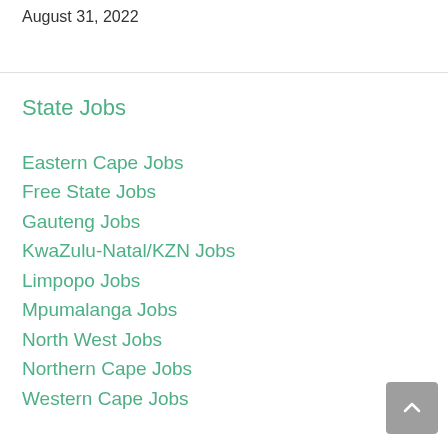August 31, 2022
State Jobs
Eastern Cape Jobs
Free State Jobs
Gauteng Jobs
KwaZulu-Natal/KZN Jobs
Limpopo Jobs
Mpumalanga Jobs
North West Jobs
Northern Cape Jobs
Western Cape Jobs